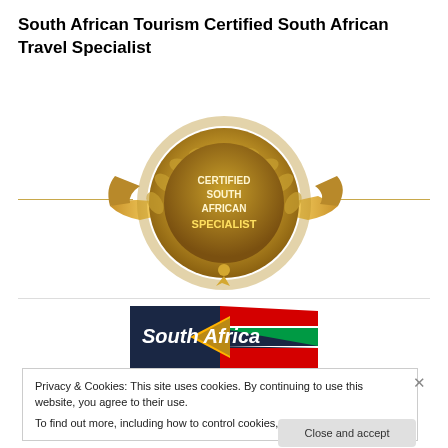South African Tourism Certified South African Travel Specialist
[Figure (logo): Gold medallion badge with ribbon banner reading CERTIFIED SOUTH AFRICAN SPECIALIST with laurel wreath decoration]
[Figure (logo): South Africa Tourism logo with colorful diagonal flag stripes on dark navy background with cursive 'South Africa' text]
Privacy & Cookies: This site uses cookies. By continuing to use this website, you agree to their use.
To find out more, including how to control cookies, see here: Cookie Policy
Close and accept